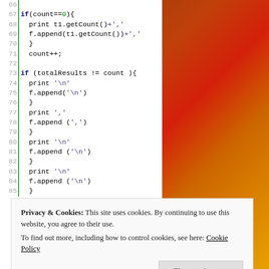[Figure (screenshot): Code editor screenshot showing Python code lines 66-85 with green vertical bar line numbers on left. Code includes if/count logic, print and f.append statements with string literals.]
Privacy & Cookies: This site uses cookies. By continuing to use this website, you agree to their use.
To find out more, including how to control cookies, see here: Cookie Policy
Close and accept